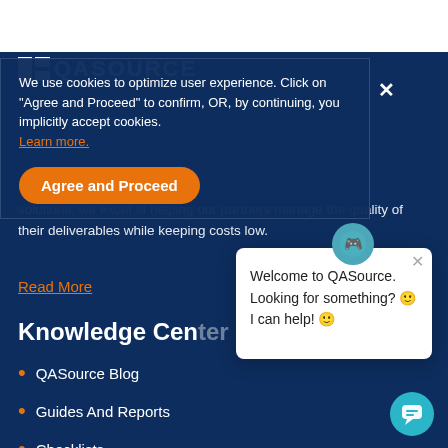[Figure (logo): QASource logo with white square icon and white uppercase text]
We use cookies to optimize user experience. Click on "Agree and Proceed" to confirm, OR, by continuing, you implicitly accept cookies. Learn more.
Agree and Proceed
solutions, we excel at helping our partners manage the quality of their deliverables while keeping costs low.
Read More
Knowledge Center
QASource Blog
Guides And Reports
Checklists
Welcome to QASource. Looking for something? 🙂 I can help! 🙂